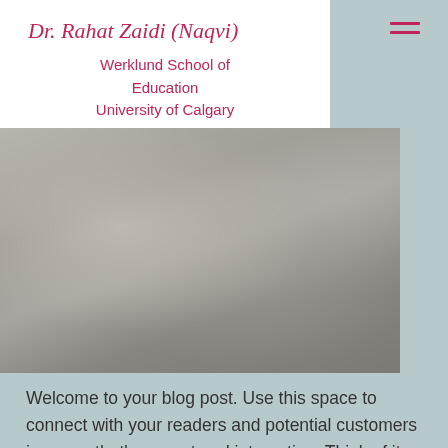Dr. Rahat Zaidi (Naqvi)
Werklund School of Education
University of Calgary
[Figure (photo): Blurred grayscale photograph, likely a classroom or group setting, spanning most of the width of the page below the navigation header.]
Welcome to your blog post. Use this space to connect with your readers and potential customers in a way that's current and interesting. Think of it as an ongoing conversation where you can share updates about